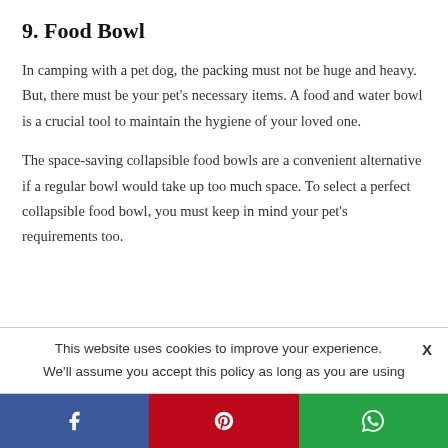9. Food Bowl
In camping with a pet dog, the packing must not be huge and heavy. But, there must be your pet’s necessary items. A food and water bowl is a crucial tool to maintain the hygiene of your loved one.
The space-saving collapsible food bowls are a convenient alternative if a regular bowl would take up too much space. To select a perfect collapsible food bowl, you must keep in mind your pet’s requirements too.
This website uses cookies to improve your experience. X
We'll assume you accept this policy as long as you are using